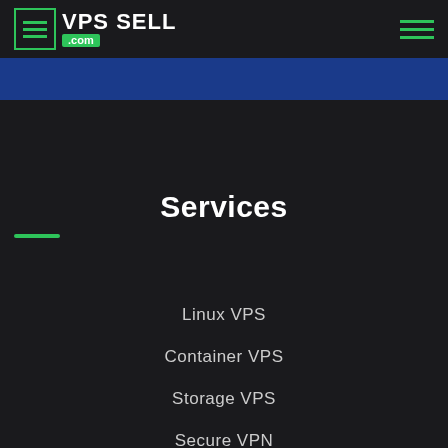VPS SELL .com
Services
Linux VPS
Container VPS
Storage VPS
Secure VPN
SSL Certificates